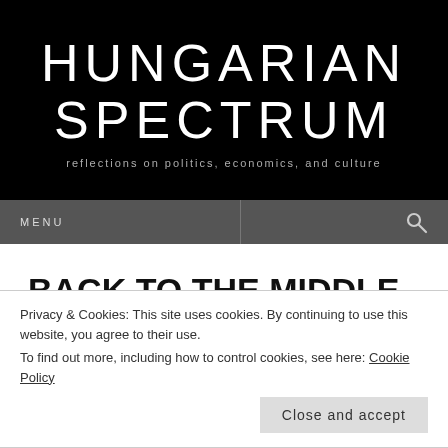HUNGARIAN SPECTRUM
reflections on politics, economics, and culture
MENU
BACK TO THE MIDDLE AGES:
VIKTOR ORBÁN AT THE
Privacy & Cookies: This site uses cookies. By continuing to use this website, you agree to their use.
To find out more, including how to control cookies, see here: Cookie Policy
Close and accept